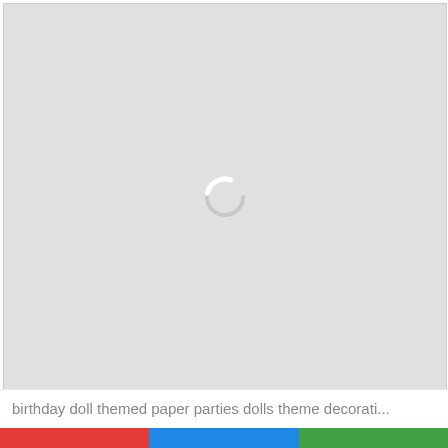[Figure (screenshot): Large light gray loading placeholder area with a circular spinner/loading indicator in the center]
birthday doll themed paper parties dolls theme decorati...
[Figure (infographic): Three colored horizontal bars at bottom: red, blue, green]